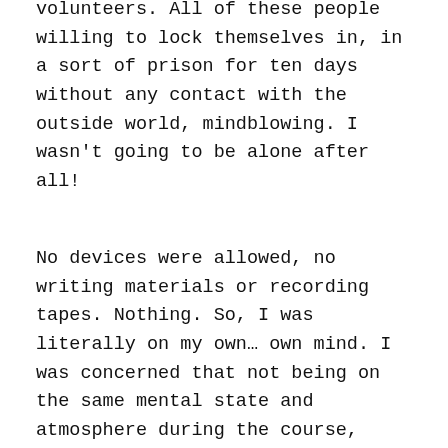volunteers. All of these people willing to lock themselves in, in a sort of prison for ten days without any contact with the outside world, mindblowing. I wasn't going to be alone after all!
No devices were allowed, no writing materials or recording tapes. Nothing. So, I was literally on my own… own mind. I was concerned that not being on the same mental state and atmosphere during the course, everything that was to be written about it would be decontextualised. After a couple of days when the course was finished, I realised that